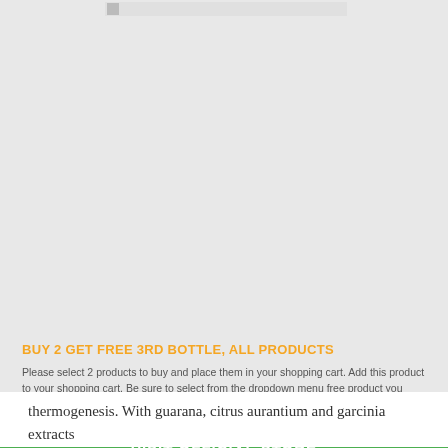[Figure (other): Gray placeholder panel with broken image icon at top]
BUY 2 GET FREE 3RD BOTTLE, ALL PRODUCTS
Please select 2 products to buy and place them in your shopping cart. Add this product to your shopping cart. Be sure to select from the dropdown menu free product you want. Click to shop
VISIT OFFICIAL STORE
thermogenesis. With guarana, citrus aurantium and garcinia extracts